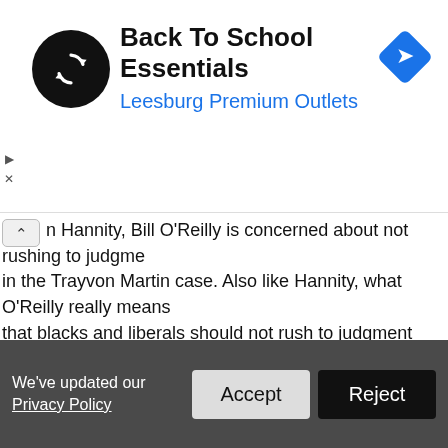[Figure (other): Advertisement banner: Back To School Essentials at Leesburg Premium Outlets, with a black circular logo with arrows and a blue navigation diamond icon]
n Hannity, Bill O'Reilly is concerned about not rushing to judgment in the Trayvon Martin case. Also like Hannity, what O'Reilly really means is that blacks and liberals should not rush to judgment against shooter George Zimmerman who seems to have racially profiled the unarmed Martin before shooting him. Because when it came to Dr. George Tiller, an abortion provider, O'Reilly convicted him when the only crime committed was that not comporting with O'Reilly's version of morality.
Read more
4 reactions   Share
We've updated our Privacy Policy
Accept
Reject